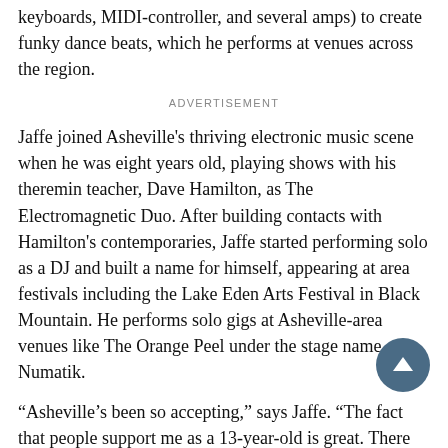keyboards, MIDI-controller, and several amps) to create funky dance beats, which he performs at venues across the region.
ADVERTISEMENT
Jaffe joined Asheville's thriving electronic music scene when he was eight years old, playing shows with his theremin teacher, Dave Hamilton, as The Electromagnetic Duo. After building contacts with Hamilton's contemporaries, Jaffe started performing solo as a DJ and built a name for himself, appearing at area festivals including the Lake Eden Arts Festival in Black Mountain. He performs solo gigs at Asheville-area venues like The Orange Peel under the stage name Numatik.
“Asheville’s been so accepting,” says Jaffe. “The fact that people support me as a 13-year-old is great. There are all kinds of musicians I collab with.”